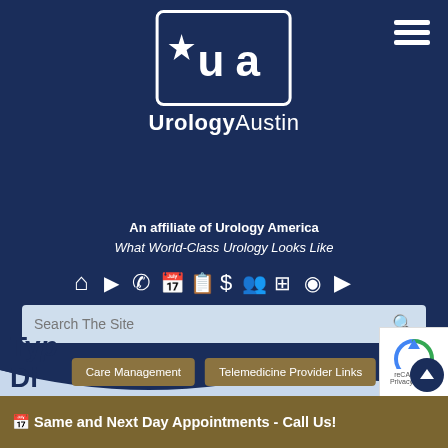[Figure (logo): Urology Austin logo: UA letters in a rounded rectangle with a star, on dark navy background]
UrologyAustin
An affiliate of Urology America
What World-Class Urology Looks Like
[Figure (infographic): Row of white navigation icons: home, video, phone, calendar, clipboard, dollar sign, group, medical cross, RSS, play button]
Search The Site
Care Management
Telemedicine Provider Links
Clinical Trials at Urology Austin
Typ
Di...
Same and Next Day Appointments - Call Us!